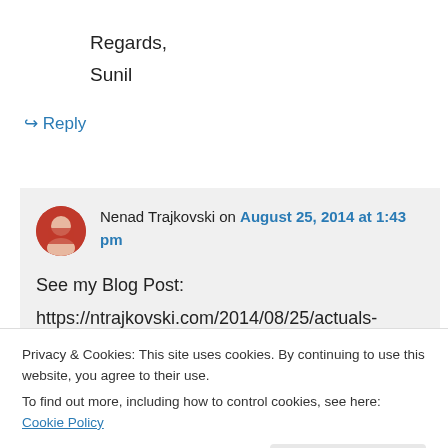Regards,
Sunil
↪ Reply
Nenad Trajkovski on August 25, 2014 at 1:43 pm
See my Blog Post:
https://ntrajkovski.com/2014/08/25/actuals-
Privacy & Cookies: This site uses cookies. By continuing to use this website, you agree to their use.
To find out more, including how to control cookies, see here: Cookie Policy
Close and accept